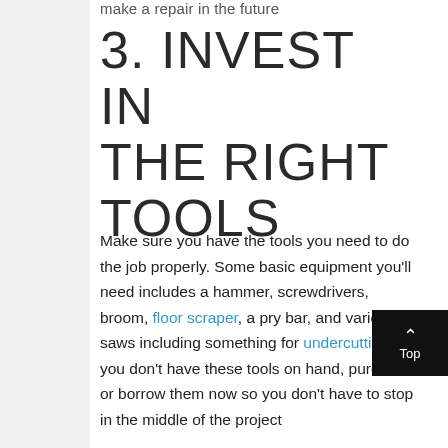make a repair in the future
3. INVEST IN THE RIGHT TOOLS
Make sure you have the tools you need to do the job properly. Some basic equipment you’ll need includes a hammer, screwdrivers, broom, floor scraper, a pry bar, and various saws including something for undercutting. If you don’t have these tools on hand, purchase or borrow them now so you don’t have to stop in the middle of the project